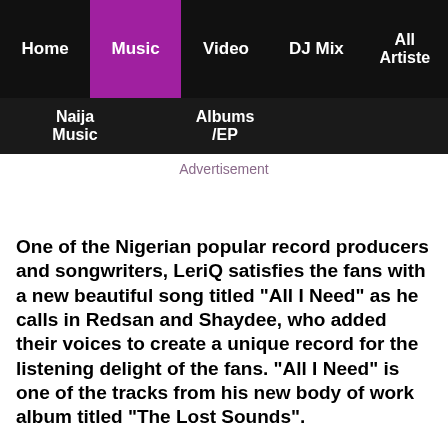Home | Music | Video | DJ Mix | All Artiste
Naija Music | Albums/EP
Advertisement
One of the Nigerian popular record producers and songwriters, LeriQ satisfies the fans with a new beautiful song titled "All I Need" as he calls in Redsan and Shaydee, who added their voices to create a unique record for the listening delight of the fans. "All I Need" is one of the tracks from his new body of work album titled "The Lost Sounds".
This season, LeriQ whose real name is Eric Isaac Utere, decided to make a new offering with this stunning body of work album titled "The Lost Sounds"...